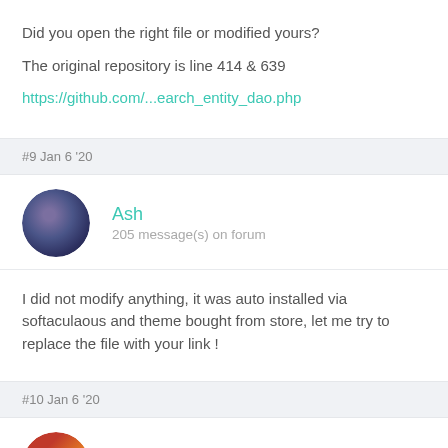Did you open the right file or modified yours?
The original repository is line 414 & 639
https://github.com/...earch_entity_dao.php
#9 Jan 6 '20
Ash
205 message(s) on forum
I did not modify anything, it was auto installed via softaculaous and theme bought from store, let me try to replace the file with your link !
#10 Jan 6 '20
Paul
179 message(s) on forum